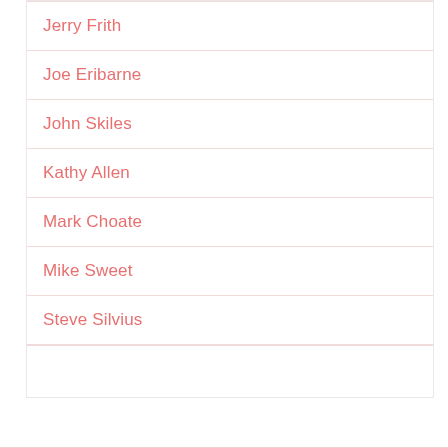Jerry Frith
Joe Eribarne
John Skiles
Kathy Allen
Mark Choate
Mike Sweet
Steve Silvius